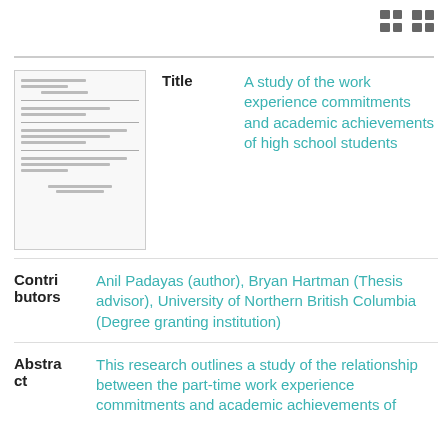[Figure (screenshot): UI toolbar icons: list-view and grid-view toggle buttons in gray]
[Figure (photo): Thumbnail preview of the document cover page showing text lines]
Title
A study of the work experience commitments and academic achievements of high school students
Contributors
Anil Padayas (author), Bryan Hartman (Thesis advisor), University of Northern British Columbia (Degree granting institution)
Abstract
This research outlines a study of the relationship between the part-time work experience commitments and academic achievements of